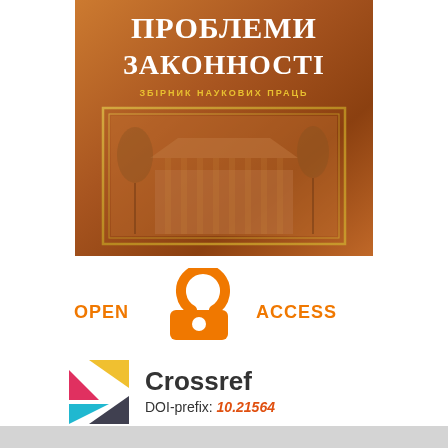[Figure (photo): Book cover of 'Проблеми Законності' (Problems of Legality), a collection of scientific works. Brown leather-textured cover with gold title text, subtitle 'ЗБІРНИК НАУКОВИХ ПРАЦЬ' in yellow, and an embossed building image in a gold-bordered frame.]
[Figure (logo): Open Access logo: orange unlocked padlock icon with text 'OPEN ACCESS' in orange on either side.]
[Figure (logo): Crossref logo with colorful triangular shapes and text 'Crossref' with 'DOI-prefix: 10.21564' below.]